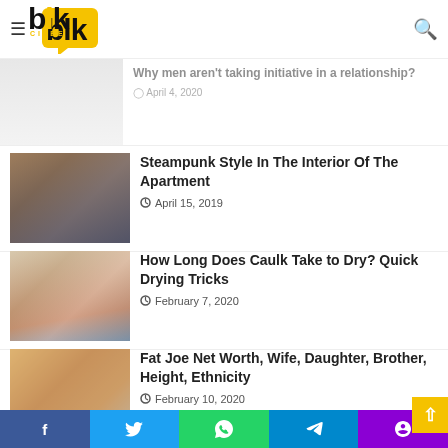Talk Citee - navigation header with logo, hamburger menu and search icon
Why men aren't taking initiative in a relationship? — April 4, 2020 (faded/partial)
Steampunk Style In The Interior Of The Apartment — April 15, 2019
How Long Does Caulk Take to Dry? Quick Drying Tricks — February 7, 2020
Fat Joe Net Worth, Wife, Daughter, Brother, Height, Ethnicity — February 10, 2020
How to Fix Windows 10 Black Screen Spinning Dots? All Solutions (partial)
Social share bar: Facebook, Twitter, WhatsApp, Telegram, Phone